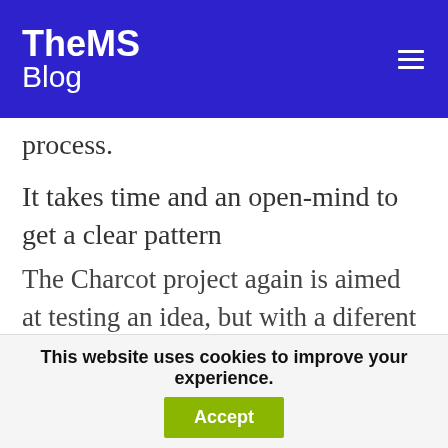TheMS Blog
process.
It takes time and an open-mind to get a clear pattern
The Charcot project again is aimed at testing an idea, but with a diferent slant from the same-old, same old. However, if the virus is just the trigger then timing of your anti-viral delivery is key.
This website uses cookies to improve your experience.